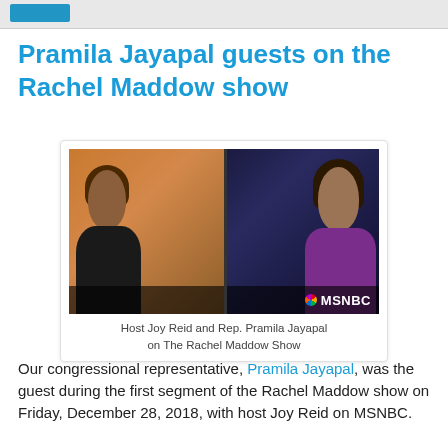Pramila Jayapal guests on the Rachel Maddow show
[Figure (photo): Split-screen TV image showing Joy Reid on the left in a dark studio background and Rep. Pramila Jayapal on the right with the Seattle skyline in the background, with MSNBC watermark in the bottom right corner.]
Host Joy Reid and Rep. Pramila Jayapal on The Rachel Maddow Show
Our congressional representative, Pramila Jayapal, was the guest during the first segment of the Rachel Maddow show on Friday, December 28, 2018, with host Joy Reid on MSNBC.